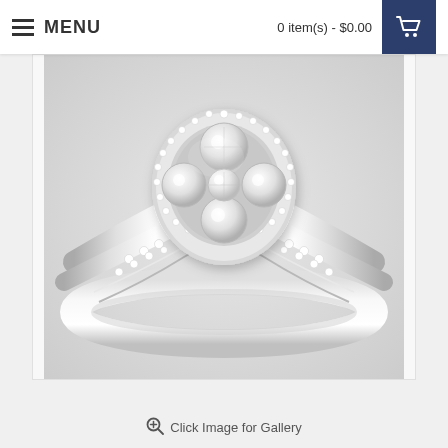≡  MENU    0 item(s) - $0.00  🛒
[Figure (photo): A white gold diamond cluster engagement ring with a clover-shaped halo center cluster of four diamonds surrounded by pavé diamonds, and a split shank band with pavé diamond accents along the bypass style band, photographed on a light gray gradient background.]
🔍 Click Image for Gallery